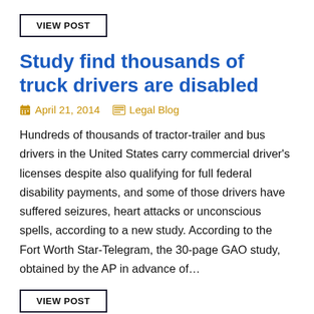VIEW POST
Study find thousands of truck drivers are disabled
April 21, 2014   Legal Blog
Hundreds of thousands of tractor-trailer and bus drivers in the United States carry commercial driver's licenses despite also qualifying for full federal disability payments, and some of those drivers have suffered seizures, heart attacks or unconscious spells, according to a new study. According to the Fort Worth Star-Telegram, the 30-page GAO study, obtained by the AP in advance of…
VIEW POST